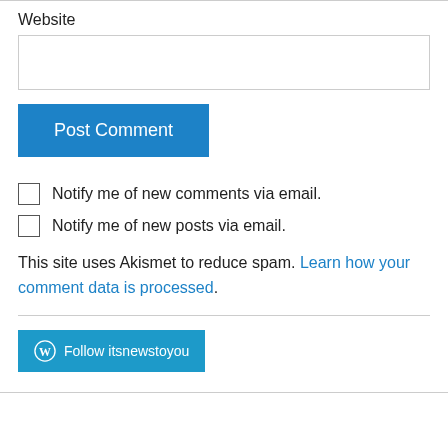Website
[Figure (other): Text input box for Website field]
[Figure (other): Post Comment button (blue)]
Notify me of new comments via email.
Notify me of new posts via email.
This site uses Akismet to reduce spam. Learn how your comment data is processed.
[Figure (other): Follow itsnewstoyou button with WordPress logo]